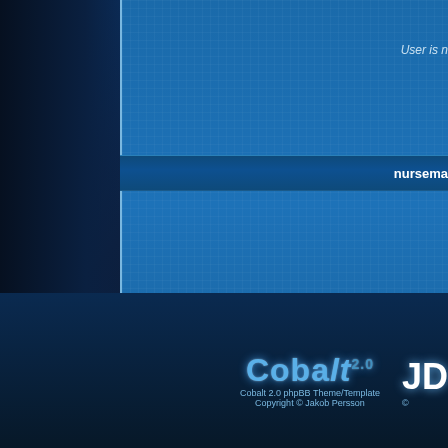User is n
nursema
No d
nurseman's
No dra
Cobalt 2.0 phpBB Theme/Template
Copyright © Jakob Persson
JD
©